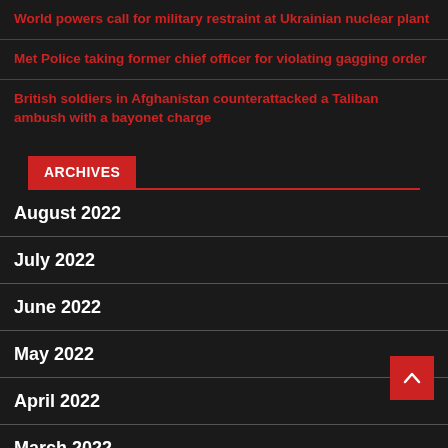World powers call for military restraint at Ukrainian nuclear plant
Met Police taking former chief officer for violating gagging order
British soldiers in Afghanistan counterattacked a Taliban ambush with a bayonet charge
ARCHIVES
August 2022
July 2022
June 2022
May 2022
April 2022
March 2022
February 2022